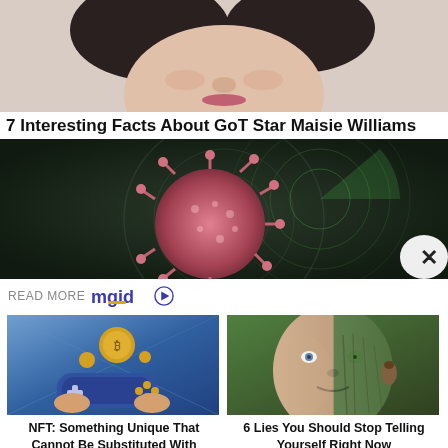[Figure (photo): Cropped photo of a young woman's face (Maisie Williams), showing from chin to forehead region, light background]
7 Interesting Facts About GoT Star Maisie Williams
[Figure (illustration): Digital illustration of a coronavirus particle (pink/red spiky sphere) on a dark radar/targeting screen background with green radar sweep lines]
READ MORE mgid ▶
[Figure (illustration): Animated illustration of hands holding a blue video game controller with gold coins/NFT coins floating above it in a futuristic setting]
NFT: Something Unique That Cannot Be Substituted With Another
[Figure (photo): Split-face photo of a man: one half is a normal human face with blue eyes, the other half is a tree bark/nature textured face]
6 Lies You Should Stop Telling Yourself Right Now